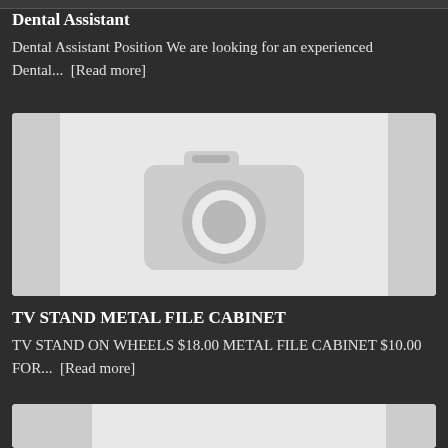Dental Assistant
Dental Assistant Position We are looking for an experienced Dental...  [Read more]
[Figure (photo): Placeholder image with camera icon indicating no image available]
TV STAND METAL FILE CABINET
TV STAND ON WHEELS $18.00 METAL FILE CABINET $10.00 FOR...  [Read more]
[Figure (photo): Partial placeholder image at bottom of page]